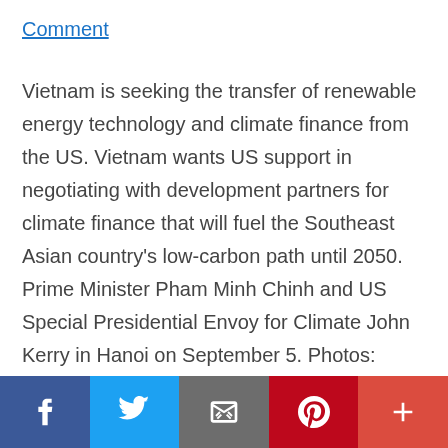Comment
Vietnam is seeking the transfer of renewable energy technology and climate finance from the US. Vietnam wants US support in negotiating with development partners for climate finance that will fuel the Southeast Asian country's low-carbon path until 2050. Prime Minister Pham Minh Chinh and US Special Presidential Envoy for Climate John Kerry in Hanoi on September 5. Photos: VGP, Thach Thao Hanoi hopes that Washington continues to support Vietnam's energy partnership with the development partners to have a potential source of additional support for its energy transition, which is critical to
[Figure (infographic): Social media share bar with five buttons: Facebook (dark blue), Twitter (light blue), Email (gray), Pinterest (dark red), More/Plus (orange-red)]